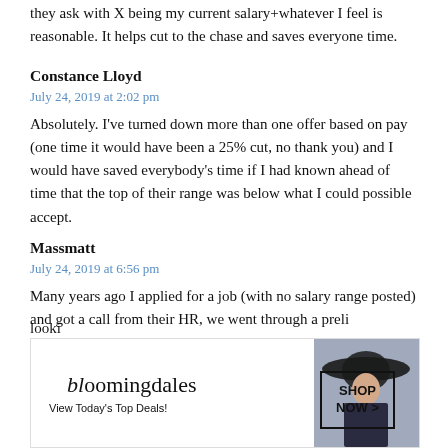they ask with X being my current salary+whatever I feel is reasonable. It helps cut to the chase and saves everyone time.
Constance Lloyd
July 24, 2019 at 2:02 pm
Absolutely. I've turned down more than one offer based on pay (one time it would have been a 25% cut, no thank you) and I would have saved everybody's time if I had known ahead of time that the top of their range was below what I could possible accept.
Massmatt
July 24, 2019 at 6:56 pm
Many years ago I applied for a job (with no salary range posted) and got a call from their HR, we went through a preli... looki... age
[Figure (other): Bloomingdale's advertisement overlay with 'View Today's Top Deals!' tagline, woman in wide-brim hat, and 'SHOP NOW >' button. CLOSE button in top-right corner.]